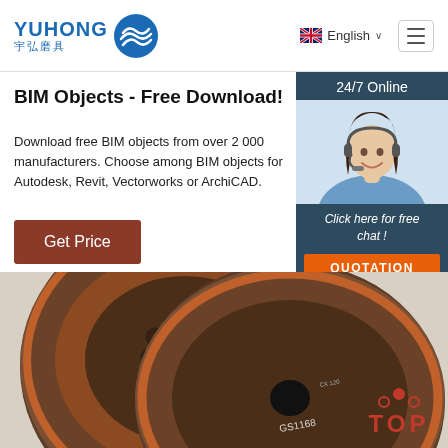[Figure (logo): YUHONG 宇弘磨具 logo with blue wave/sphere icon]
English
BIM Objects - Free Download!
Download free BIM objects from over 2 000 manufacturers. Choose among BIM objects for Autodesk, Revit, Vectorworks or ArchiCAD.
Get Price
[Figure (infographic): Chat widget sidebar with '24/7 Online' header, female customer service agent with headset, 'Click here for free chat!' text, and orange QUOTATION button]
[Figure (photo): Grinding/cutting discs labeled GS1148 and GS1168 with a TOP navigation button in bottom right]